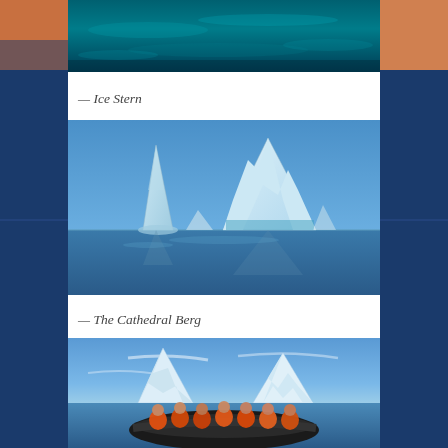[Figure (photo): Aerial or close-up view of deep teal/turquoise water with ice, partial photo at top of page — Ice Stern]
— Ice Stern
[Figure (photo): Two large icebergs floating in calm blue water under a clear blue sky — The Cathedral Berg]
— The Cathedral Berg
[Figure (photo): Group of people in orange survival suits seated in a Zodiac inflatable boat, with large icebergs in the background under a blue sky]